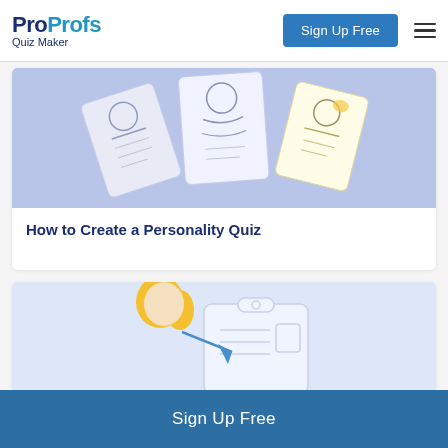ProProfs Quiz Maker | Sign Up Free
[Figure (illustration): Illustration of quiz/personality cards fanned out on a purple-blue background, showing cartoon figures on playing card-style illustrations]
How to Create a Personality Quiz
[Figure (illustration): Illustration of a person with golden hair writing on a clipboard/form on a light blue background]
Sign Up Free